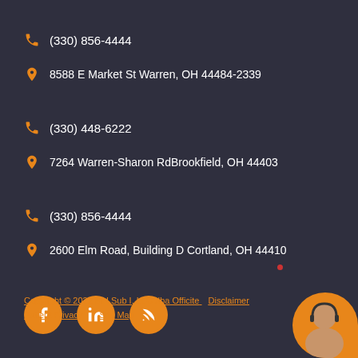(330) 856-4444
8588 E Market St Warren, OH 44484-2339
(330) 448-6222
7264 Warren-Sharon RdBrookfield, OH 44403
(330) 856-4444
2600 Elm Road, Building D Cortland, OH 44410
[Figure (illustration): Social media icons: Facebook, LinkedIn, RSS feed in orange circles]
Copyright © 2022 MH Sub I, LLC dba Officite   Disclaimer   Patient Privacy   Site Map